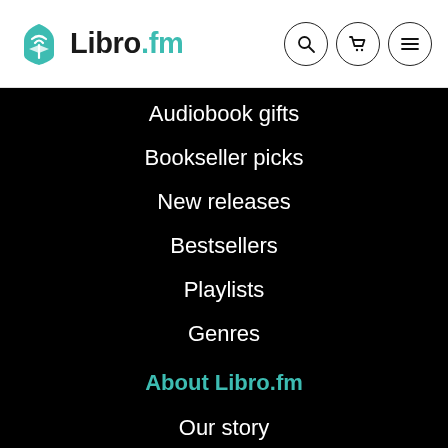[Figure (logo): Libro.fm logo with teal book/wifi icon and brand name]
Audiobook gifts
Bookseller picks
New releases
Bestsellers
Playlists
Genres
About Libro.fm
Our story
Bookstore Finder
Press